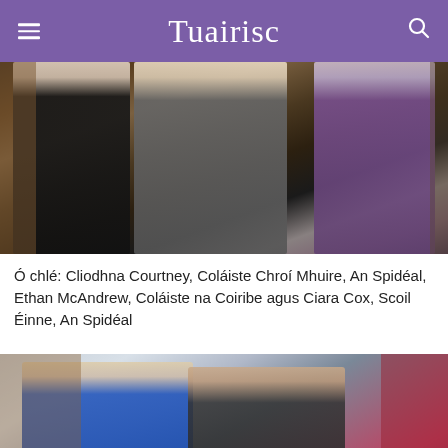Tuairisc
[Figure (photo): Group photo of three young people indoors: a girl in black on the left wearing glasses, a boy in the center in a grey jacket wearing glasses with hand raised, and a girl in purple jacket on the right.]
Ó chlé: Cliodhna Courtney, Coláiste Chroí Mhuire, An Spidéal, Ethan McAndrew, Coláiste na Coiribe agus Ciara Cox, Scoil Éinne, An Spidéal
[Figure (photo): Group photo of adults and a child indoors: a man in a blue jacket on the left smiling, a woman with dark hair in the center, and a small child in front wearing a hat.]